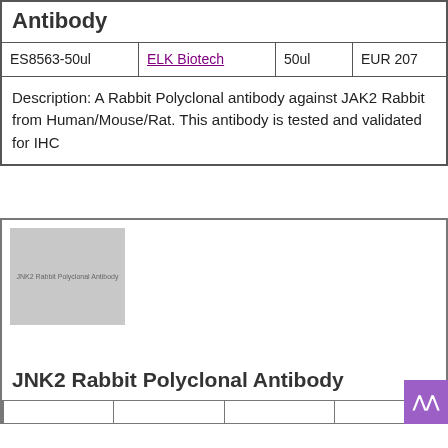Antibody
| ES8563-50ul | ELK Biotech | 50ul | EUR 207 |
| --- | --- | --- | --- |
Description: A Rabbit Polyclonal antibody against JAK2 Rabbit from Human/Mouse/Rat. This antibody is tested and validated for IHC
[Figure (photo): JNK2 Rabbit Polyclonal Antibody product image placeholder]
JNK2 Rabbit Polyclonal Antibody